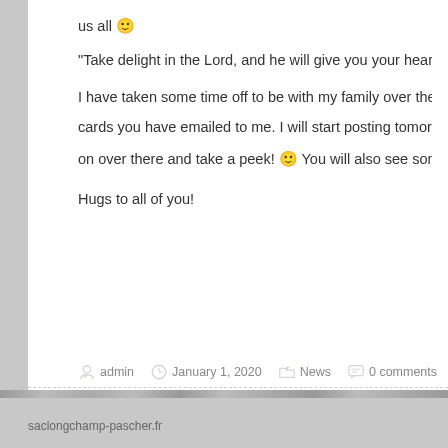us all 🙂
“Take delight in the Lord, and he will give you your heart’s desires.” Psalm
I have taken some time off to be with my family over the Holidays so I ha… cards you have emailed to me. I will start posting tomorrow in the Doodle… on over there and take a peek! 🙂 You will also see some more new Doo…
Hugs to all of you!
admin  January 1, 2020  News  0 comments
saclongchamp-pascher.fr